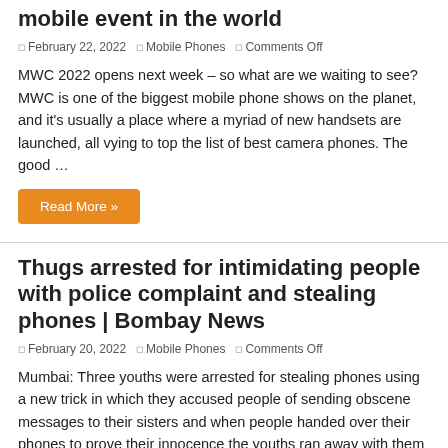mobile event in the world
February 22, 2022  Mobile Phones  Comments Off
MWC 2022 opens next week – so what are we waiting to see? MWC is one of the biggest mobile phone shows on the planet, and it's usually a place where a myriad of new handsets are launched, all vying to top the list of best camera phones. The good …
Read More »
Thugs arrested for intimidating people with police complaint and stealing phones | Bombay News
February 20, 2022  Mobile Phones  Comments Off
Mumbai: Three youths were arrested for stealing phones using a new trick in which they accused people of sending obscene messages to their sisters and when people handed over their phones to prove their innocence the youths ran away with them their phones. According to Malad police, the incident happened …